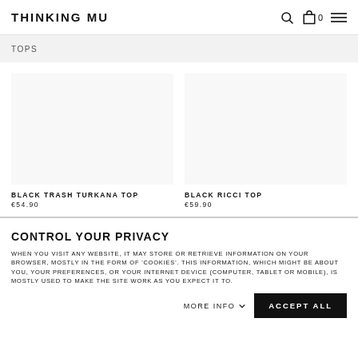THINKING MU
TOPS
BLACK TRASH TURKANA TOP
€54.90
BLACK RICCI TOP
€59.90
CONTROL YOUR PRIVACY
WHEN YOU VISIT ANY WEBSITE, IT MAY STORE OR RETRIEVE INFORMATION ON YOUR BROWSER, MOSTLY IN THE FORM OF 'COOKIES'. THIS INFORMATION, WHICH MIGHT BE ABOUT YOU, YOUR PREFERENCES, OR YOUR INTERNET DEVICE (COMPUTER, TABLET OR MOBILE), IS MOSTLY USED TO MAKE THE SITE WORK AS YOU EXPECT IT TO.
MORE INFO
ACCEPT ALL